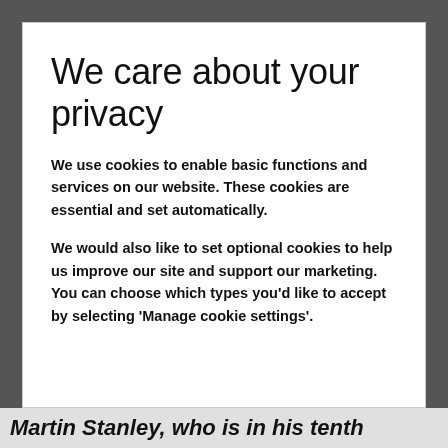We care about your privacy
We use cookies to enable basic functions and services on our website. These cookies are essential and set automatically.
We would also like to set optional cookies to help us improve our site and support our marketing. You can choose which types you'd like to accept by selecting 'Manage cookie settings'.
Martin Stanley, who is in his tenth